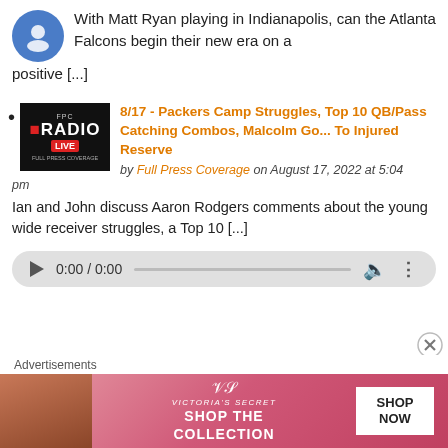With Matt Ryan playing in Indianapolis, can the Atlanta Falcons begin their new era on a positive [...]
8/17 - Packers Camp Struggles, Top 10 QB/Pass Catching Combos, Malcolm Go... To Injured Reserve
by Full Press Coverage on August 17, 2022 at 5:04 pm
Ian and John discuss Aaron Rodgers comments about the young wide receiver struggles, a Top 10 [...]
[Figure (other): Audio player widget showing 0:00 / 0:00 with play button, progress bar, volume and more icons]
Advertisements
[Figure (other): Victoria's Secret advertisement banner with model photo, logo, 'SHOP THE COLLECTION' text and 'SHOP NOW' button]